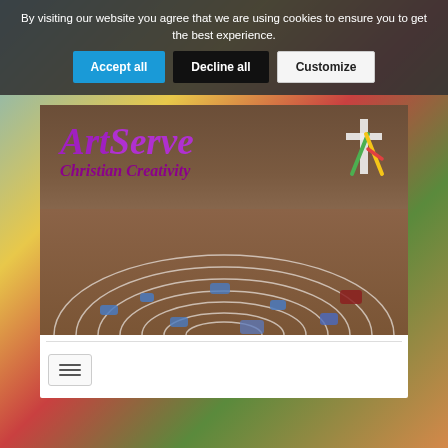By visiting our website you agree that we are using cookies to ensure you to get the best experience.
[Figure (screenshot): Cookie consent banner with Accept all, Decline all, and Customize buttons]
[Figure (screenshot): ArtServe Christian Creativity website header image showing a church interior with a labyrinth on the floor, overlaid with the ArtServe Christian Creativity logo in purple text with a colorful cross icon]
[Figure (screenshot): Hamburger menu toggle button (three horizontal lines) inside a light-bordered box]